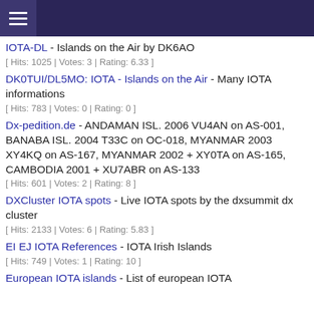[hamburger menu header bar]
IOTA-DL - Islands on the Air by DK6AO
[ Hits: 1025 | Votes: 3 | Rating: 6.33 ]
DK0TUI/DL5MO: IOTA - Islands on the Air - Many IOTA informations
[ Hits: 783 | Votes: 0 | Rating: 0 ]
Dx-pedition.de - ANDAMAN ISL. 2006 VU4AN on AS-001, BANABA ISL. 2004 T33C on OC-018, MYANMAR 2003 XY4KQ on AS-167, MYANMAR 2002 + XY0TA on AS-165, CAMBODIA 2001 + XU7ABR on AS-133
[ Hits: 601 | Votes: 2 | Rating: 8 ]
DXCluster IOTA spots - Live IOTA spots by the dxsummit dx cluster
[ Hits: 2133 | Votes: 6 | Rating: 5.83 ]
EI EJ IOTA References - IOTA Irish Islands
[ Hits: 749 | Votes: 1 | Rating: 10 ]
European IOTA islands - List of european IOTA Re...